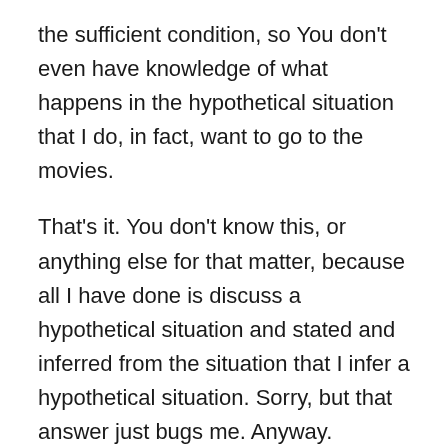the sufficient condition, so You don't even have knowledge of what happens in the hypothetical situation that I do, in fact, want to go to the movies.
That's it. You don't know this, or anything else for that matter, because all I have done is discuss a hypothetical situation and stated and inferred from the situation that I infer a hypothetical situation. Sorry, but that answer just bugs me. Anyway.
E) talks about something irrelevant. two breeds of dogs that are more closely related to each other than wolves are descended from wolves. This would actually mean that all dogs are descended